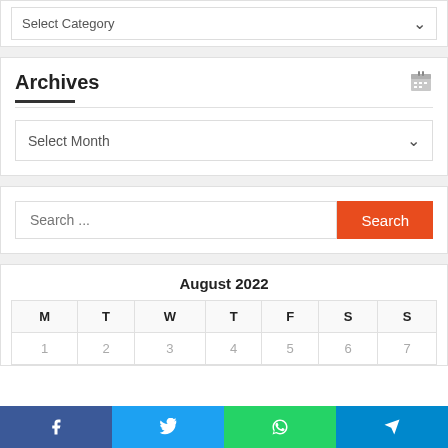Select Category
Archives
Select Month
Search ...
| M | T | W | T | F | S | S |
| --- | --- | --- | --- | --- | --- | --- |
| 1 | 2 | 3 | 4 | 5 | 6 | 7 |